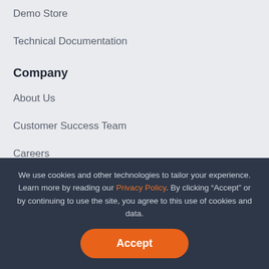Demo Store
Technical Documentation
Company
About Us
Customer Success Team
Careers
Privacy Policy
Terms of Service
We use cookies and other technologies to tailor your experience. Learn more by reading our Privacy Policy. By clicking “Accept” or by continuing to use the site, you agree to this use of cookies and data.
Have Questions?
Let's Talk
Accept